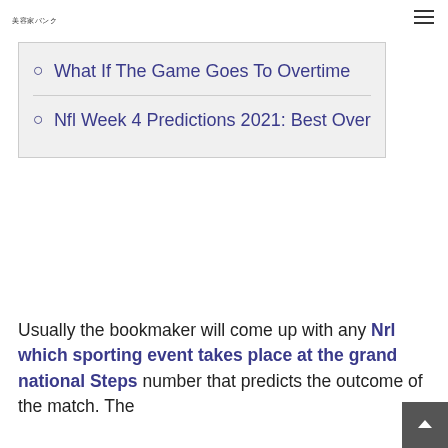美容家バンク
What If The Game Goes To Overtime
Nfl Week 4 Predictions 2021: Best Over
Usually the bookmaker will come up with any Nrl which sporting event takes place at the grand national Steps number that predicts the outcome of the match. The